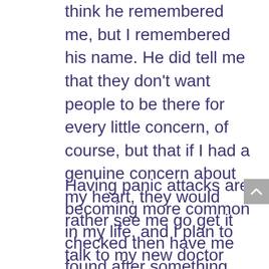think he remembered me, but I remembered his name. He did tell me that they don't want people to be there for every little concern, of course, but that if I had a genuine concern about my heart, they would rather see me go get it checked then have me found after something bad happened, and it is too late. I felt a little silly waiting there all that time but relieved that all the tests came back normal.
Having panic attacks are becoming more common in my life, and I plan to talk to my new doctor about it next month. It may be why my ears are ringing so much. I really need that to calm down. Knowing that what I felt may just be another symptom of a panic